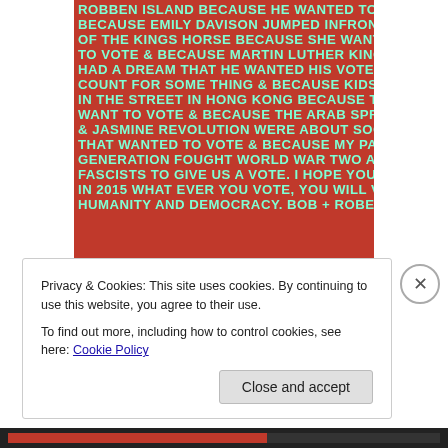[Figure (photo): A red background artwork with white/teal stencil-style text reading: ROBBEN ISLAND BECAUSE HE WANTED TO VOTE & BECAUSE EMILY DAVISON JUMPED INFRONT OF THE KINGS HORSE BECAUSE SHE WANTED TO VOTE & BECAUSE MARTIN LUTHER KING HAD A DREAM THAT HE WANTED HIS VOTE TO COUNT FOR SOME THING & BECAUSE KIDS CAMP IN THE STREET IN HONG KONG BECAUSE THEY WANT TO VOTE & BECAUSE THE ARAB SPRING & JASMINE REVOLUTION WERE ABOUT SOCIETIES THAT WANTED TO VOTE & BECAUSE MY PARENTS GENERATION FOUGHT WORLD WAR TWO AGAINST FASCISTS TO GIVE US A VOTE. I HOPE YOU VOTE. IN 2015 WHAT EVER YOU VOTE, YOU WILL VOTE FOR HUMANITY AND DEMOCRACY. BOB + ROBERTA SMITH]
#vote Bob & Roberta Smith
Privacy & Cookies: This site uses cookies. By continuing to use this website, you agree to their use.
To find out more, including how to control cookies, see here: Cookie Policy